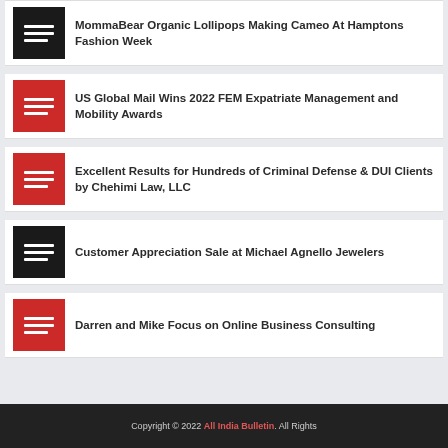MommaBear Organic Lollipops Making Cameo At Hamptons Fashion Week
US Global Mail Wins 2022 FEM Expatriate Management and Mobility Awards
Excellent Results for Hundreds of Criminal Defense & DUI Clients by Chehimi Law, LLC
Customer Appreciation Sale at Michael Agnello Jewelers
Darren and Mike Focus on Online Business Consulting
Copyright © 2022 All India Bulletin. All Rights